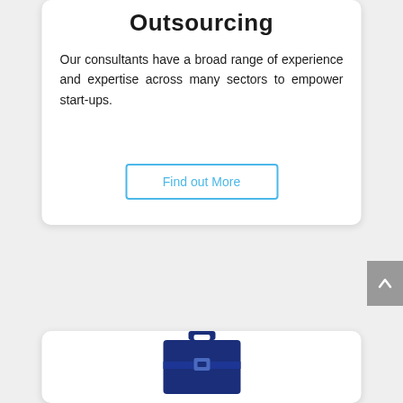Outsourcing
Our consultants have a broad range of experience and expertise across many sectors to empower start-ups.
Find out More
[Figure (illustration): Briefcase icon in dark navy blue, partially visible at the bottom of the page in a second white card]